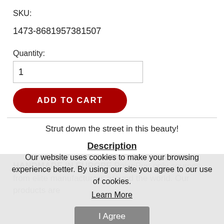SKU:
1473-8681957381507
Quantity:
1
ADD TO CART
Strut down the street in this beauty!
Description
HANDMADE IN EUROPE PoisePup only sources from elite manufacturers around the world. Our products are
Our website uses cookies to make your browsing experience better. By using our site you agree to our use of cookies.
Learn More
I Agree